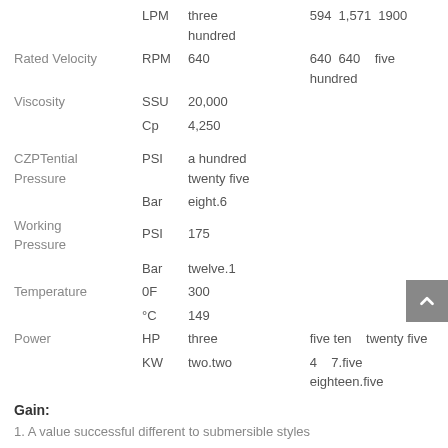| Property | Unit | Value 1 | Value 2 | Value 3 |
| --- | --- | --- | --- | --- |
|  | LPM | three hundred | 594 | 1,571 | 1900 |
| Rated Velocity | RPM | 640 | 640 | 640 | five hundred |
| Viscosity | SSU | 20,000 |  |  |  |
|  | Cp | 4,250 |  |  |  |
| CZPTential Pressure | PSI | a hundred twenty five |  |  |  |
|  | Bar | eight.6 |  |  |  |
| Working Pressure | PSI | 175 |  |  |  |
|  | Bar | twelve.1 |  |  |  |
| Temperature | 0F | 300 |  |  |  |
|  | °C | 149 |  |  |  |
| Power | HP | three | five ten | twenty five |  |
|  | KW | two.two | 4 | 7.five | eighteen.five |
Gain:
1. A value successful different to submersible styles